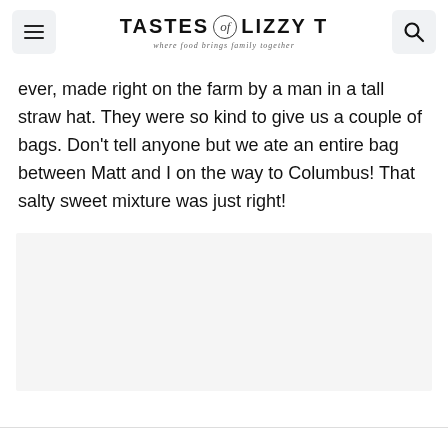TASTES of LIZZY T — where food brings family together
ever, made right on the farm by a man in a tall straw hat. They were so kind to give us a couple of bags. Don't tell anyone but we ate an entire bag between Matt and I on the way to Columbus! That salty sweet mixture was just right!